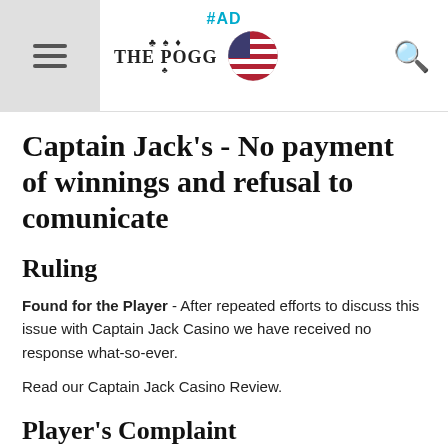THE POGG | #AD
Captain Jack's - No payment of winnings and refusal to comunicate
Ruling
Found for the Player - After repeated efforts to discuss this issue with Captain Jack Casino we have received no response what-so-ever.
Read our Captain Jack Casino Review.
Player's Complaint